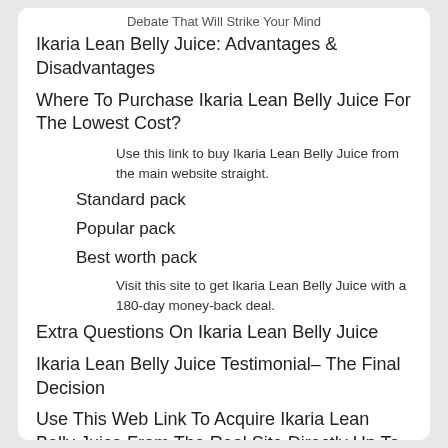Debate That Will Strike Your Mind
Ikaria Lean Belly Juice: Advantages & Disadvantages
Where To Purchase Ikaria Lean Belly Juice For The Lowest Cost?
Use this link to buy Ikaria Lean Belly Juice from the main website straight.
Standard pack
Popular pack
Best worth pack
Visit this site to get Ikaria Lean Belly Juice with a 180-day money-back deal.
Extra Questions On Ikaria Lean Belly Juice
Ikaria Lean Belly Juice Testimonial– The Final Decision
Use This Web Link To Acquire Ikaria Lean Belly Juice From The Real Site Directly Up To 50% Off - >